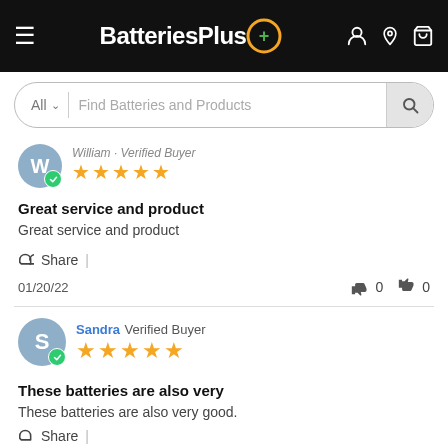BatteriesPlus+ | Navigation header with search bar
William · Verified Buyer | 5 stars
Great service and product
Great service and product
Share  |
01/20/22  👍 0  👎 0
Sandra  Verified Buyer | 5 stars
These batteries are also very
These batteries are also very good.
Share  |